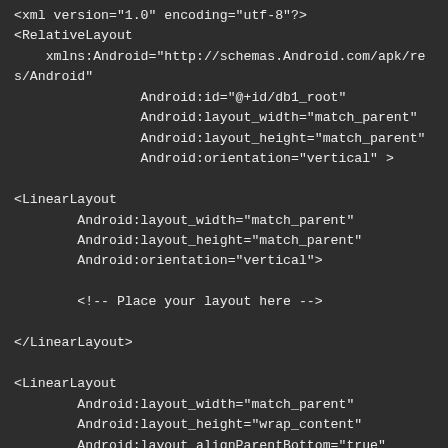<?xml version="1.0" encoding="utf-8"?>
<RelativeLayout
    xmlns:Android="http://schemas.Android.com/apk/res/Android"
        Android:id="@+id/db1_root"
        Android:layout_width="match_parent"
        Android:layout_height="match_parent"
        Android:orientation="vertical" >

<LinearLayout
    Android:layout_width="match_parent"
    Android:layout_height="match_parent"
    Android:orientation="vertical">

        <!-- Place your layout here -->

</LinearLayout>

<LinearLayout
    Android:layout_width="match_parent"
    Android:layout_height="wrap_content"
    Android:layout_alignParentBottom="true"